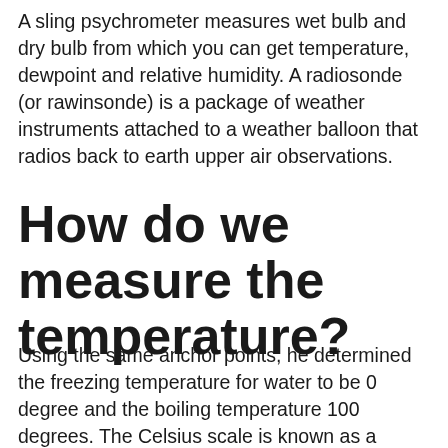A sling psychrometer measures wet bulb and dry bulb from which you can get temperature, dewpoint and relative humidity. A radiosonde (or rawinsonde) is a package of weather instruments attached to a weather balloon that radios back to earth upper air observations.
How do we measure the temperature?
Using the same anchor points, he determined the freezing temperature for water to be 0 degree and the boiling temperature 100 degrees. The Celsius scale is known as a Universal System Unit. It is used throughout science and in most countries. At a temperature of Absolute Zero